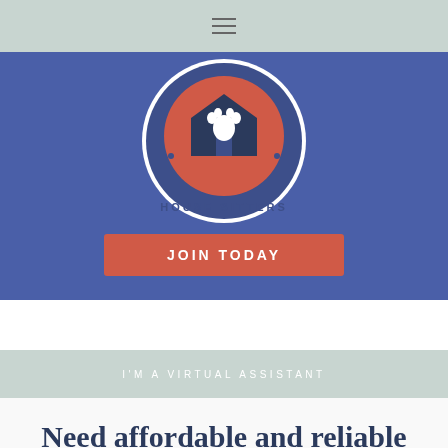≡ (navigation menu icon)
[Figure (logo): Circular logo for a house-sitting service. White circle border with text 'HOUSE SITTERS' at the bottom. Inside is a red circle containing a dark navy house icon with a white paw print. Blue background around the circular logo.]
JOIN TODAY
I'M A VIRTUAL ASSISTANT
Need affordable and reliable virtual assistant?